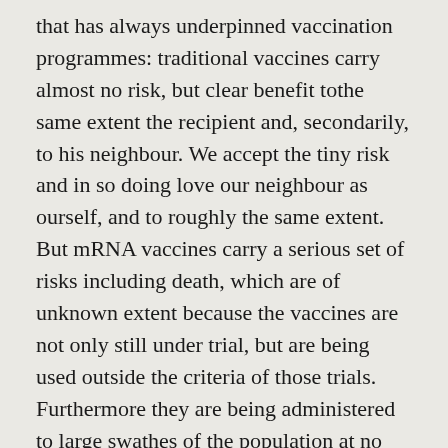that has always underpinned vaccination programmes: traditional vaccines carry almost no risk, but clear benefit tothe same extent the recipient and, secondarily, to his neighbour. We accept the tiny risk and in so doing love our neighbour as ourself, and to roughly the same extent. But mRNA vaccines carry a serious set of risks including death, which are of unknown extent because the vaccines are not only still under trial, but are being used outside the criteria of those trials. Furthermore they are being administered to large swathes of the population at no risk from the virus, but of known risk from the vaccine, whose risks to the unborn are even less transparent.
A man has no greater love than to lay down his life for his friends, but nobody should be expected to risk their life, their health and their future offspring for the sake of a vaccine that doesn't even significantly